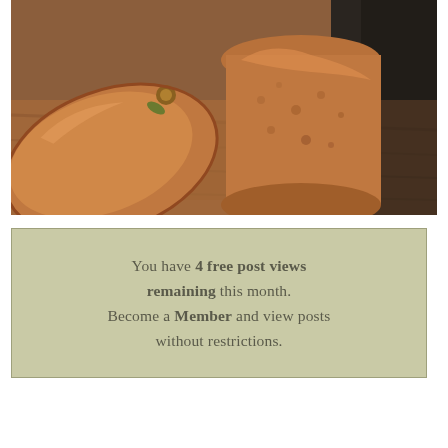[Figure (photo): Photograph of copper cookware — a large copper pot and a copper pan/lid on a wooden cutting board surface. Warm tones of polished copper and wood.]
You have 4 free post views remaining this month. Become a Member and view posts without restrictions.
Are you ready for an abundance of culture, ideas, beauty, and just great items to explore on a Friday? Because here is a full T & T...